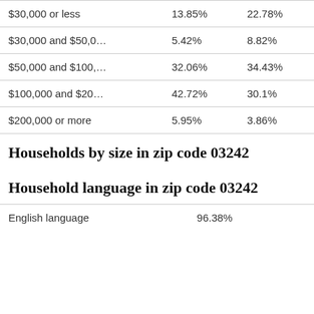| $30,000 or less | 13.85% | 22.78% |
| $30,000 and $50,0… | 5.42% | 8.82% |
| $50,000 and $100,… | 32.06% | 34.43% |
| $100,000 and $20… | 42.72% | 30.1% |
| $200,000 or more | 5.95% | 3.86% |
Households by size in zip code 03242
Household language in zip code 03242
| English language | 96.38% |